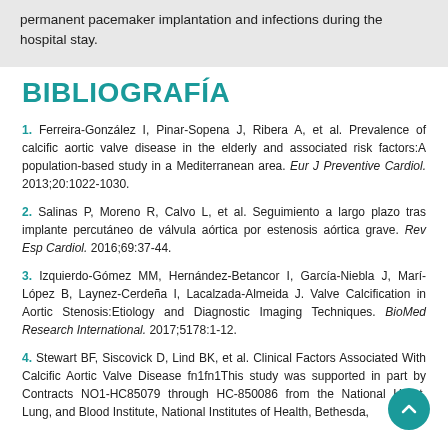permanent pacemaker implantation and infections during the hospital stay.
BIBLIOGRAFÍA
1. Ferreira-González I, Pinar-Sopena J, Ribera A, et al. Prevalence of calcific aortic valve disease in the elderly and associated risk factors:A population-based study in a Mediterranean area. Eur J Preventive Cardiol. 2013;20:1022-1030.
2. Salinas P, Moreno R, Calvo L, et al. Seguimiento a largo plazo tras implante percutáneo de válvula aórtica por estenosis aórtica grave. Rev Esp Cardiol. 2016;69:37-44.
3. Izquierdo-Gómez MM, Hernández-Betancor I, García-Niebla J, Marí-López B, Laynez-Cerdeña I, Lacalzada-Almeida J. Valve Calcification in Aortic Stenosis:Etiology and Diagnostic Imaging Techniques. BioMed Research International. 2017;5178:1-12.
4. Stewart BF, Siscovick D, Lind BK, et al. Clinical Factors Associated With Calcific Aortic Valve Disease fn1fn1This study was supported in part by Contracts NO1-HC85079 through HC-850086 from the National Heart, Lung, and Blood Institute, National Institutes of Health, Bethesda,